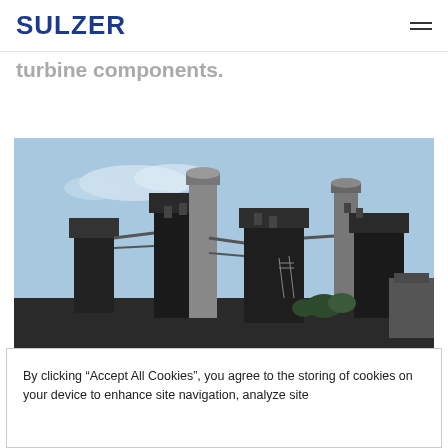SULZER
turbine components.
[Figure (photo): Industrial gas turbine power plant facility with large cylindrical stacks and complex piping infrastructure against a blue sky with light clouds.]
By clicking “Accept All Cookies”, you agree to the storing of cookies on your device to enhance site navigation, analyze site